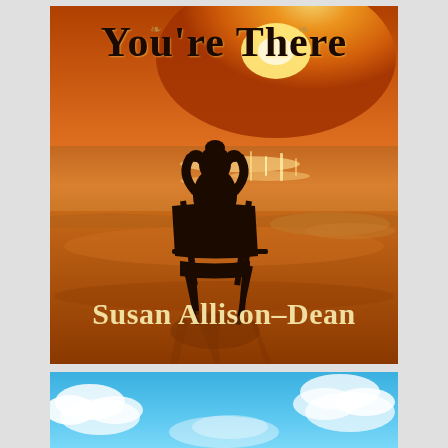[Figure (photo): Book cover showing a silhouette of a person sitting in a folding chair on a beach at sunset with golden/orange tones. Title text 'You're There' in dark serif font at top, author name 'Susan Allison-Dean' in cream/gold serif font at bottom.]
[Figure (photo): Partial book cover showing blue sky with white clouds, appearing to be the bottom portion of a second book by the same author.]